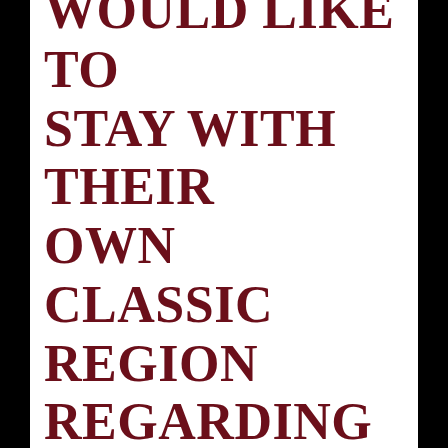would like to stay with their own classic region regarding foundation. If the star of the wedding will not just like the girl companion, this lady does not need the